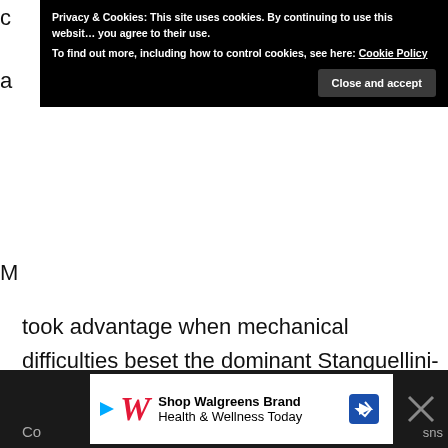Privacy & Cookies: This site uses cookies. By continuing to use this website you agree to their use. To find out more, including how to control cookies, see here: Cookie Policy
Close and accept
took advantage when mechanical difficulties beset the dominant Stanguellini-Fiats in the final. The Elva had now jumped to the top of the list for any British privateer interested in competing in Formula Junior, and the orders rapidly flowed in.
[Figure (screenshot): Walgreens advertisement banner: Shop Walgreens Brand Health & Wellness Today with Walgreens logo and navigation arrow]